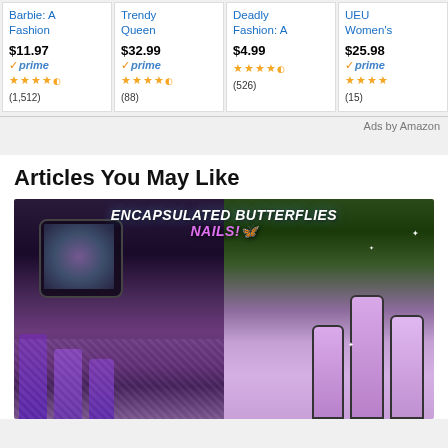[Figure (screenshot): Amazon product cards row showing: Barbie A Fashion book $11.97 prime 4.5 stars (1,512); Trendy Queen $32.99 prime 4.5 stars (88); Deadly Fashion A $4.99 4.5 stars (526); UEU Women's $25.98 prime 4 stars (15)]
Ads by Amazon
Articles You May Like
[Figure (photo): Photo of encapsulated butterfly nail art showing holographic/iridescent butterfly charms in a jar on the left, and purple glitter nails with butterfly designs on the right. White bold text overlay reads ENCAPSULATED BUTTERFLIES NAILS! with a butterfly emoji.]